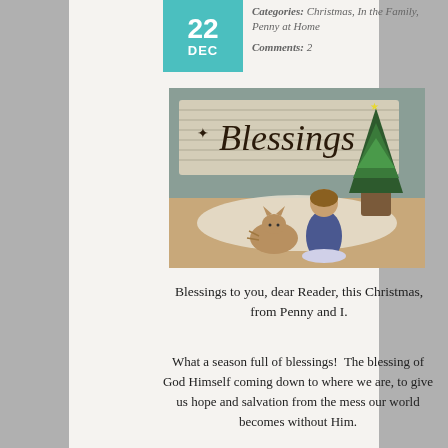22 DEC
Categories: Christmas, In the Family, Penny at Home
Comments: 2
[Figure (photo): A wooden sign reading 'Blessings' with a small decorated Christmas tree in a pot, a folk art angel doll in a blue dress, and a small cat or kitten, all arranged on a white crocheted doily on a wooden surface.]
Blessings to you, dear Reader, this Christmas, from Penny and I.
What a season full of blessings!  The blessing of God Himself coming down to where we are, to give us hope and salvation from the mess our world becomes without Him.